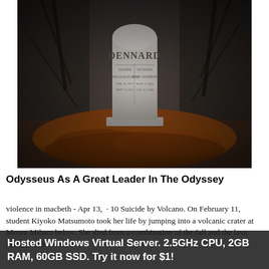[Figure (photo): A gravestone reading DENNARD with Father William Floyd and Mother Susie Stephens, surrounded by fallen autumn leaves and bare trees in the background.]
Odysseus As A Great Leader In The Odyssey
violence in macbeth - Apr 13,  · 10 Suicide by Volcano. On February 11,   student Kiyoko Matsumoto took her life by jumping into a volcanic crater at Mount Mihara. She died from a combination of the fall and the lava itself, which resulted in
Hosted Windows Virtual Server. 2.5GHz CPU, 2GB RAM, 60GB SSD. Try it now for $1!